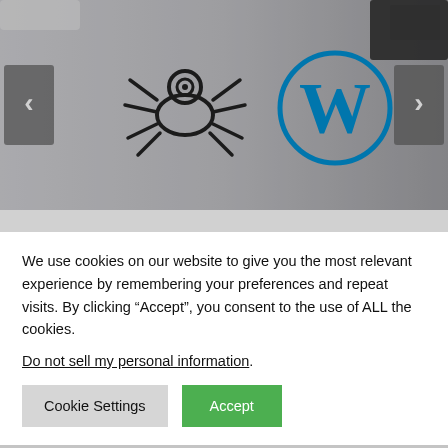[Figure (screenshot): Image slider showing a spider/bug icon and WordPress logo W on a laptop/device background, with left and right navigation arrows on grey background.]
Best Web Scraping Plugins For WordPress
Updated on February 11, 2022
We use cookies on our website to give you the most relevant experience by remembering your preferences and repeat visits. By clicking “Accept”, you consent to the use of ALL the cookies.
Do not sell my personal information.